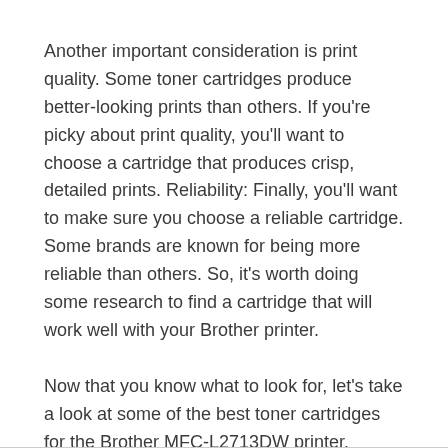Another important consideration is print quality. Some toner cartridges produce better-looking prints than others. If you're picky about print quality, you'll want to choose a cartridge that produces crisp, detailed prints. Reliability: Finally, you'll want to make sure you choose a reliable cartridge. Some brands are known for being more reliable than others. So, it's worth doing some research to find a cartridge that will work well with your Brother printer.
Now that you know what to look for, let's take a look at some of the best toner cartridges for the Brother MFC-L2713DW printer.
Best Toner Cartridges for the Brother MFC-L2713DW Printer